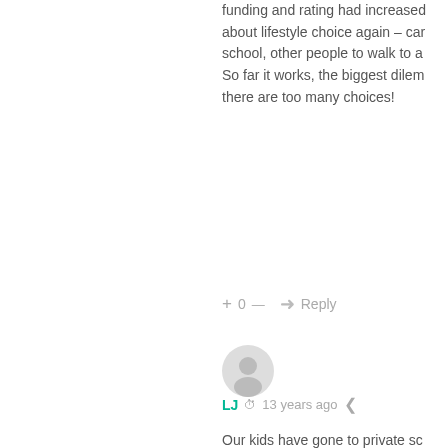funding and rating had increased about lifestyle choice again – can school, other people to walk to a... So far it works, the biggest dilem... there are too many choices!
+ 0 — ➜ Reply
[Figure (illustration): Generic user avatar circle icon]
LJ  ⏱ 13 years ago  < share
Our kids have gone to private sch... here have A LOT to be desired. C... where they would just sink into th... aren't bad at all. Lots of perks.
+ 0 — ➜ Reply
[Figure (photo): User profile photo avatar]